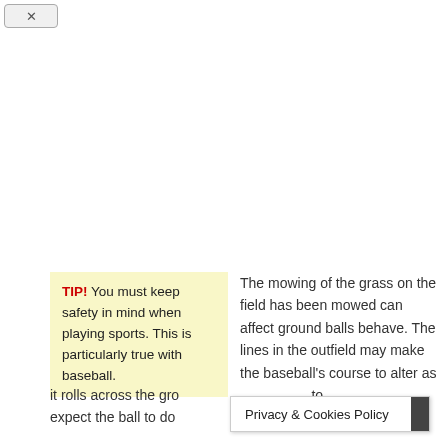[Figure (other): Close/dismiss button (X) in top-left corner of a browser or popup UI]
TIP! You must keep safety in mind when playing sports. This is particularly true with baseball.
The mowing of the grass on the field has been mowed can affect ground balls behave. The lines in the outfield may make the baseball's course to alter as it rolls across the gro... to expect the ball to do... you
Privacy & Cookies Policy